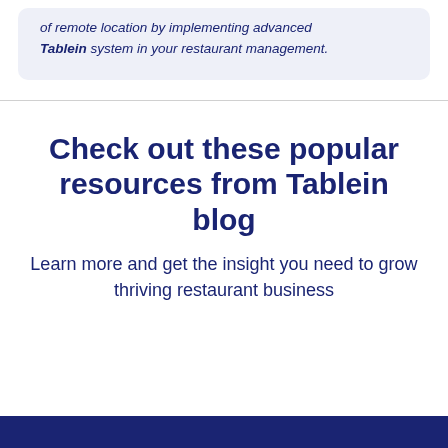of remote location by implementing advanced Tablein system in your restaurant management.
Check out these popular resources from Tablein blog
Learn more and get the insight you need to grow thriving restaurant business